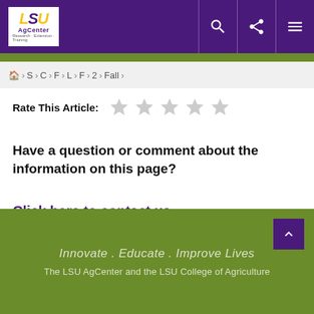LSU AgCenter
⌂ › S › C › F › L › F › 2 › Fall ›
Rate This Article: ★★★★★
Have a question or comment about the information on this page?
Click here to contact us.
Innovate . Educate . Improve Lives
The LSU AgCenter and the LSU College of Agriculture